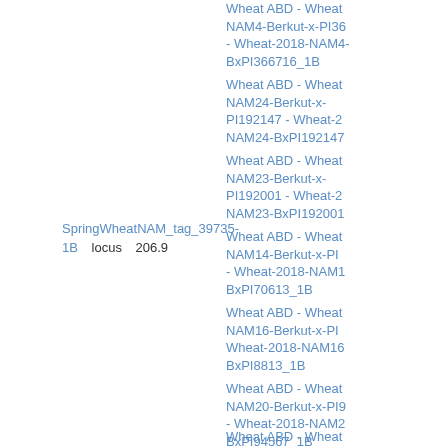SpringWheatNAM_tag_39735-1B   locus   206.9
Wheat ABD - Wheat NAM4-Berkut-x-PI36 - Wheat-2018-NAM4-BxPI366716_1B
Wheat ABD - Wheat NAM24-Berkut-x-PI192147 - Wheat-2018-NAM24-BxPI192147
Wheat ABD - Wheat NAM23-Berkut-x-PI192001 - Wheat-2018-NAM23-BxPI192001
Wheat ABD - Wheat NAM14-Berkut-x-PI - Wheat-2018-NAM1-BxPI70613_1B
Wheat ABD - Wheat NAM16-Berkut-x-PI - Wheat-2018-NAM16-BxPI8813_1B
Wheat ABD - Wheat NAM20-Berkut-x-PI9 - Wheat-2018-NAM2-BxPI94567_1B
Wheat ABD - Wheat NAM29-Berkut-x-